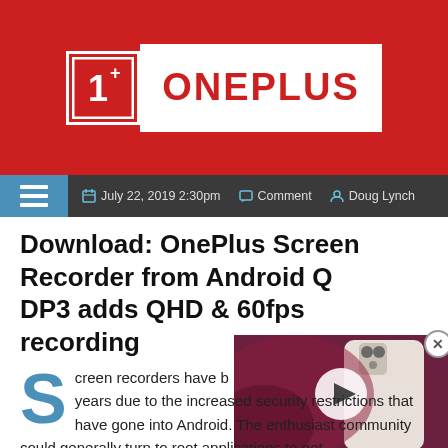[Figure (logo): OnePlus logo — white square icon with 1+ symbol on red background, next to white rectangle with red ONEPLUS text]
≡  📅 July 22, 2019 2:30pm  💬 Comment  👤 Doug Lynch
Download: OnePlus Screen Recorder from Android Q DP3 adds QHD & 60fps recording
[Figure (screenshot): Video thumbnail showing back of a white smartphone on a purple/maroon background with a play button overlay]
Screen recorders have been hard to come by in recent years due to the increased security restrictions that have gone into Android. The enthusiast community could generally turn to root applications to get